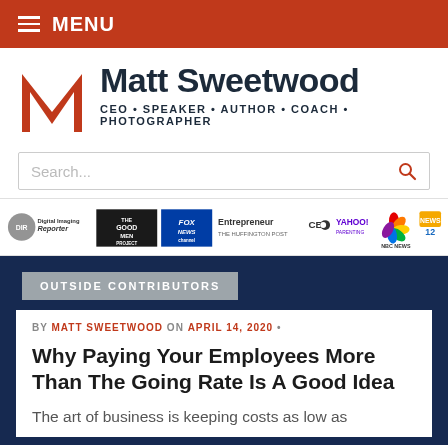MENU
Matt Sweetwood — CEO • SPEAKER • AUTHOR • COACH • PHOTOGRAPHER
[Figure (logo): Matt Sweetwood logo — stylized red M letter mark]
Search...
[Figure (infographic): Media logos strip: Digital Imaging Reporter, The Good Men Project, Fox News Channel, Entrepreneur / The Huffington Post, CBS, Yahoo Parenting, NBC News, News 12]
OUTSIDE CONTRIBUTORS
BY MATT SWEETWOOD ON APRIL 14, 2020 •
Why Paying Your Employees More Than The Going Rate Is A Good Idea
The art of business is keeping costs as low as